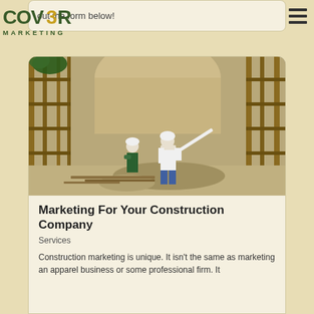[Figure (logo): COV3R MARKETING logo with green text and gold/yellow numeral 3]
[Figure (other): Hamburger menu icon (three horizontal lines) in dark color on right side]
out the form below!
[Figure (photo): Aerial/overhead photo of a construction site showing scaffolding, workers in hard hats, and building framework under construction]
Marketing For Your Construction Company
Services
Construction marketing is unique. It isn't the same as marketing an apparel business or some professional firm. It